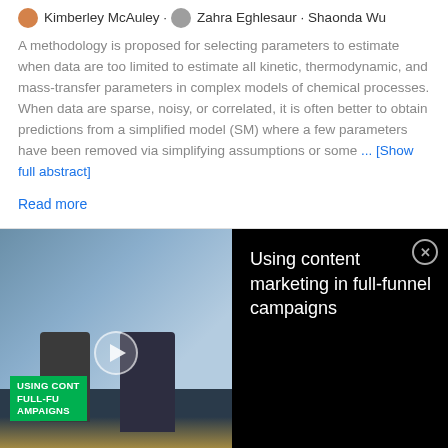Kimberley McAuley · Zahra Eghlesaur · Shaonda Wu
A methodology is proposed for selecting parameters to estimate when data are too limited to estimate all kinetic, thermodynamic, and mass-transfer parameters in complex models of chemical processes. When data are sparse, noisy, or correlated, it is often better to obtain predictions from a simplified model (SM) where a few parameters have been removed via simplifying assumptions or some ... [Show full abstract]
Read more
[Figure (screenshot): Video thumbnail showing two people at a desk in an office with large windows, with overlay text 'USING CONTENT MARKETING IN FULL-FUNNEL CAMPAIGNS' and a play button]
Using content marketing in full-funnel campaigns
[Figure (illustration): Lipid molecule chain illustration showing orange and dark chain links]
Greater Insight into Lipid Metabolism